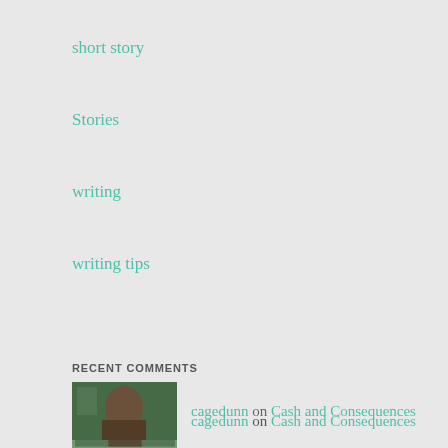short story
Stories
writing
writing tips
RECENT COMMENTS
cagedunn on Cash and Consequences
D. Wallace Peach on Cash and Consequences
cagedunn on Cash and Consequences